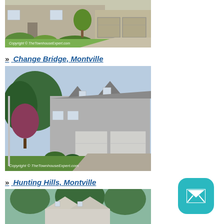[Figure (photo): Exterior photo of a townhouse with garage and green lawn, showing Copyright © TheTownhouseExpert.com watermark]
» Change Bridge, Montville
[Figure (photo): Exterior photo of Change Bridge Montville townhouse with gray siding, garage, dormers and trees, showing Copyright © TheTownhouseExpert.com watermark]
» Hunting Hills, Montville
[Figure (photo): Partial exterior photo of Hunting Hills Montville townhouse with trees in background]